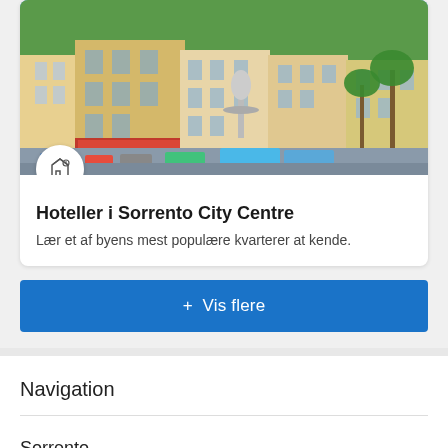[Figure (photo): City centre of Sorrento, Italy — colorful buildings, a fountain statue, palm trees, parked cars and buses, blue sky]
Hoteller i Sorrento City Centre
Lær et af byens mest populære kvarterer at kende.
+ Vis flere
Navigation
Sorrento
Campania